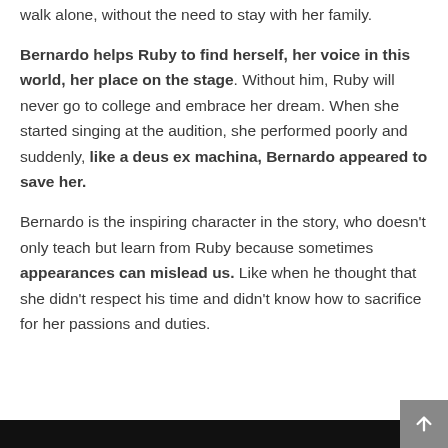walk alone, without the need to stay with her family.
Bernardo helps Ruby to find herself, her voice in this world, her place on the stage. Without him, Ruby will never go to college and embrace her dream. When she started singing at the audition, she performed poorly and suddenly, like a deus ex machina, Bernardo appeared to save her.
Bernardo is the inspiring character in the story, who doesn't only teach but learn from Ruby because sometimes appearances can mislead us. Like when he thought that she didn't respect his time and didn't know how to sacrifice for her passions and duties.